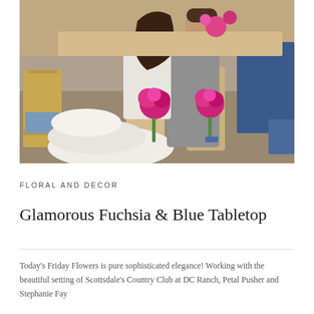[Figure (photo): Wedding photo of a bride and groom seated at a table kissing. The bride wears a white strapless gown, and the groom wears a grey suit. Their chairs are decorated with champagne-colored fabric sashes and fuchsia/pink hydrangea floral arrangements. Blue velvet linens are visible on adjacent tables in the background. Outdoor setting.]
FLORAL AND DECOR
Glamorous Fuchsia & Blue Tabletop
Today's Friday Flowers is pure sophisticated elegance! Working with the beautiful setting of Scottsdale's Country Club at DC Ranch, Petal Pusher and Stephanie Fay